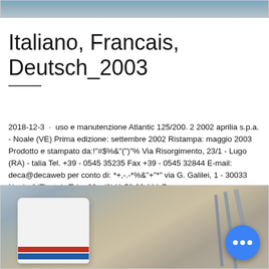[Figure (photo): Top partial photo strip showing outdoor industrial or landscape scene]
Italiano, Francais, Deutsch_2003
2018-12-3 · uso e manutenzione Atlantic 125/200. 2 2002 aprilia s.p.a. - Noale (VE) Prima edizione: settembre 2002 Ristampa: maggio 2003 Prodotto e stampato da:!"#$%&"(")"% Via Risorgimento, 23/1 - Lugo (RA) - talia Tel. +39 - 0545 35235 Fax +39 - 0545 32844 E-mail: deca@decaweb per conto di: *+,-.-*%&"+"*" via G. Galilei, 1 - 30033 Noale (VE) - taly Tel. +39 - (0)41 58 29 111 Fax …
Nous contacter
[Figure (photo): Bottom photo showing industrial equipment — a white cylindrical drum/bucket with red and blue stripes at bottom, industrial conveyor or machinery in background]